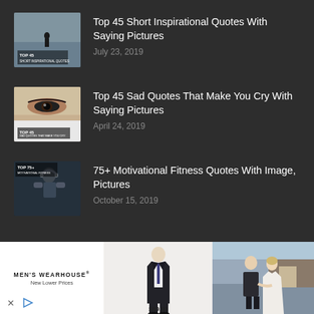Top 45 Short Inspirational Quotes With Saying Pictures
July 23, 2019
Top 45 Sad Quotes That Make You Cry With Saying Pictures
April 24, 2019
75+ Motivational Fitness Quotes With Image, Pictures
October 15, 2019
POPULAR CATEGORY
[Figure (photo): Advertisement banner for Men's Wearhouse featuring suit and couple]